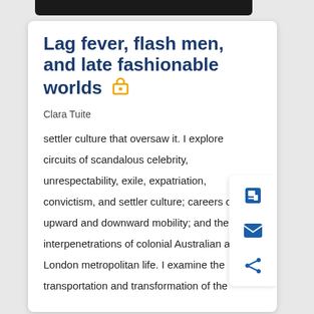Lag fever, flash men, and late fashionable worlds
Clara Tuite
settler culture that oversaw it. I explore circuits of scandalous celebrity, unrespectability, exile, expatriation, convictism, and settler culture; careers of upward and downward mobility; and the interpenetrations of colonial Australian and London metropolitan life. I examine the transportation and transformation of the